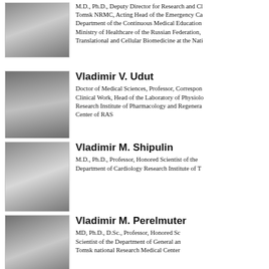[Figure (photo): Black and white portrait photo of a man in a suit with striped tie]
M.D., Ph.D., Deputy Director for Research and C... Tomsk NRMC, Acting Head of the Emergency Ca... Department of the Continuous Medical Education... Ministry of Healthcare of the Russian Federation,... Translational and Cellular Biomedicine at the Nati...
[Figure (photo): Black and white portrait photo of an older man with beard and glasses seated at a desk]
Vladimir V. Udut
Doctor of Medical Sciences, Professor, Correspon... Clinical Work, Head of the Laboratory of Physiolo... Research Institute of Pharmacology and Regenera... Center of RAS
[Figure (photo): Black and white portrait photo of a man in a tuxedo with bow tie]
Vladimir M. Shipulin
M.D., Ph.D., Professor, Honored Scientist of the... Department of Cardiology Research Institute of T...
[Figure (photo): Black and white portrait photo of a man in a white suit seated]
Vladimir M. Perelmuter
MD, Ph.D., D.Sc., Professor, Honored Sc... Scientist of the Department of General an... Tomsk national Research Medical Center...